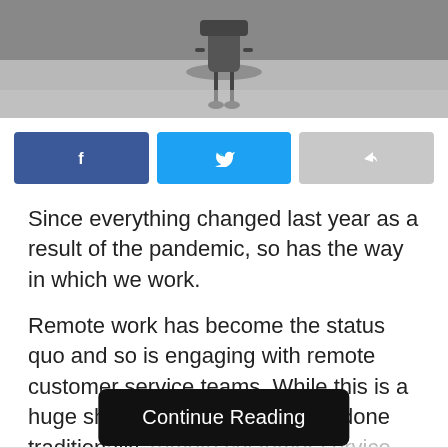[Figure (photo): Black and white photo of an office chair on a floor, cropped to show lower portion]
[Figure (infographic): Social share buttons: Facebook (blue), Twitter (light blue), Forward/share (grey)]
Since everything changed last year as a result of the pandemic, so has the way in which we work.
Remote work has become the status quo and so is engaging with remote customer service teams. While this is a huge shift from what used to be done traditionally, remote customer service teams are the way of the future and can greatly be
Thanks to technology and the ability to pretty much work
Continue Reading